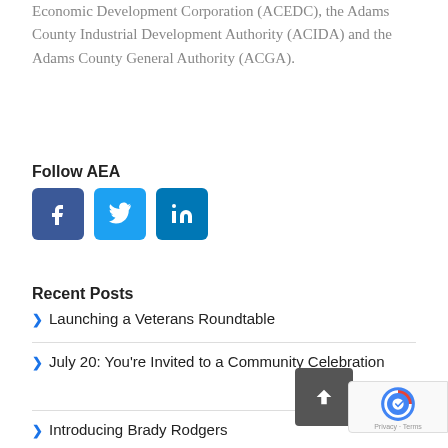Economic Development Corporation (ACEDC), the Adams County Industrial Development Authority (ACIDA) and the Adams County General Authority (ACGA).
Follow AEA
[Figure (other): Social media icons: Facebook (blue square with f), Twitter (light blue square with bird), LinkedIn (teal square with 'in')]
Recent Posts
Launching a Veterans Roundtable
July 20: You're Invited to a Community Celebration
Introducing Brady Rodgers